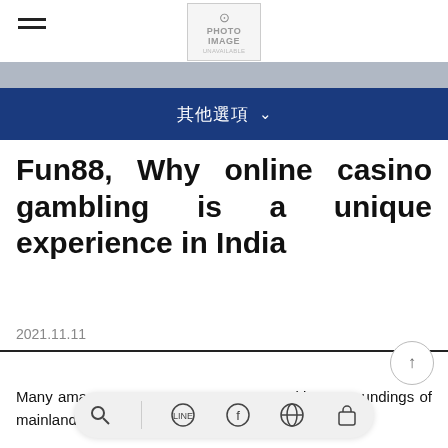[Figure (logo): Navigation bar with hamburger menu icon on left and photo placeholder logo in center]
[Figure (screenshot): Gray banner strip below navigation]
其他選項 ∨
Fun88, Why online casino gambling is a unique experience in India
2021.11.11
Many ama…e competitive surroundings of mainland casinos which may be
[Figure (screenshot): Bottom floating toolbar with search, LINE, Facebook, globe, and bag icons]